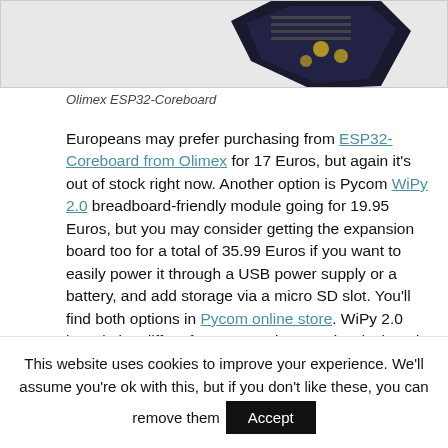[Figure (photo): Partial view of an Olimex ESP32-Coreboard PCB module, showing the corner of a black circuit board with gold pads, cropped at top.]
Olimex ESP32-Coreboard
Europeans may prefer purchasing from ESP32-Coreboard from Olimex for 17 Euros, but again it's out of stock right now. Another option is Pycom WiPy 2.0 breadboard-friendly module going for 19.95 Euros, but you may consider getting the expansion board too for a total of 35.99 Euros if you want to easily power it through a USB power supply or a battery, and add storage via a micro SD slot. You'll find both options in Pycom online store. WiPy 2.0 board also differs from competitors, as it's designed to be programmed with (micro) Python.
This website uses cookies to improve your experience. We'll assume you're ok with this, but if you don't like these, you can remove them  Accept